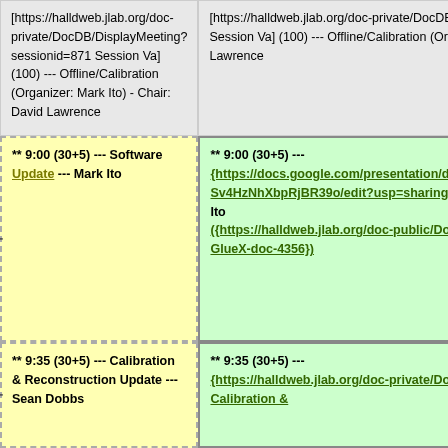[https://halldweb.jlab.org/doc-private/DocDB/DisplayMeeting?sessionid=871 Session Va] (100) --- Offline/Calibration (Organizer: Mark Ito) - Chair: David Lawrence
[https://halldweb.jlab.org/doc-private/DocDB/DisplayMeeting?sessionid=871 Session Va] (100) --- Offline/Calibration (Organizer: Mark Ito) - Chair: David Lawrence
** 9:00 (30+5) --- Software Update --- Mark Ito
** 9:00 (30+5) --- {https://docs.google.com/presentation/d/1vdIeXUwDPaEu8qM0DZXDgAfb-Sv4HzNhXbpRjBR39o/edit?usp=sharing Offline Software Status} --- Mark Ito ({https://halldweb.jlab.org/doc-public/DocDB/ShowDocument?docid=4356 GlueX-doc-4356})
** 9:35 (30+5) --- Calibration & Reconstruction Update --- Sean Dobbs
** 9:35 (30+5) --- {https://halldweb.jlab.org/doc-private/DocDB/ShowDocument?docid=4357 Calibration &